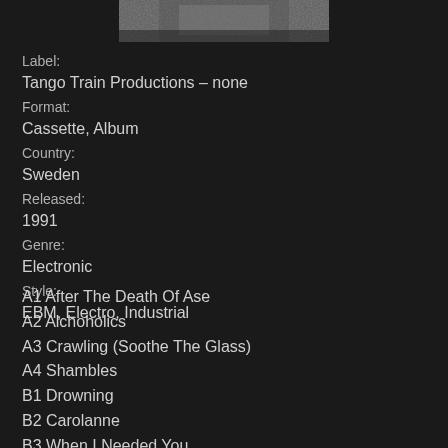[Figure (photo): Partial album cover art, black and white image cropped at top of page]
Label:
Tango Train Productions – none
Format:
Cassette, Album
Country:
Sweden
Released:
1991
Genre:
Electronic
Style:
EBM, Electro, Industrial
A1 After The Death Of Ase
A2 Alchoholics
A3 Crawling (Soothe The Glass)
A4 Shambles
B1 Drowning
B2 Carolanne
B3 When I Needed You